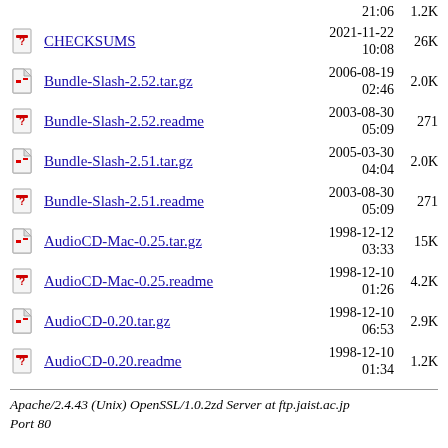21:06  1.2K (partial top row)
CHECKSUMS  2021-11-22 10:08  26K
Bundle-Slash-2.52.tar.gz  2006-08-19 02:46  2.0K
Bundle-Slash-2.52.readme  2003-08-30 05:09  271
Bundle-Slash-2.51.tar.gz  2005-03-30 04:04  2.0K
Bundle-Slash-2.51.readme  2003-08-30 05:09  271
AudioCD-Mac-0.25.tar.gz  1998-12-12 03:33  15K
AudioCD-Mac-0.25.readme  1998-12-10 01:26  4.2K
AudioCD-0.20.tar.gz  1998-12-10 06:53  2.9K
AudioCD-0.20.readme  1998-12-10 01:34  1.2K
Apache/2.4.43 (Unix) OpenSSL/1.0.2zd Server at ftp.jaist.ac.jp Port 80